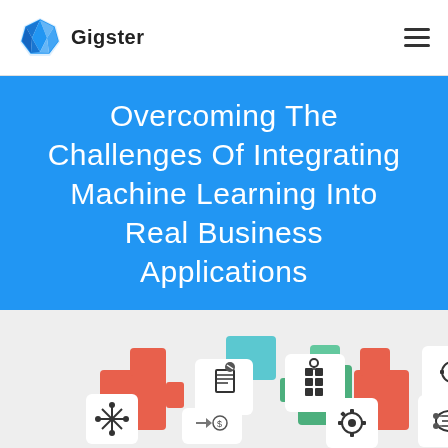Gigster
Overcoming The Challenges Of Integrating Machine Learning Into Real Business Applications
[Figure (infographic): Colorful jigsaw puzzle-style infographic with machine learning and technology icons including a brain, gear with brain, data grid, document, money exchange, robot, snowflake/network icon, and flow chart, set against orange, green, blue, and teal puzzle piece shapes on a light gray background.]